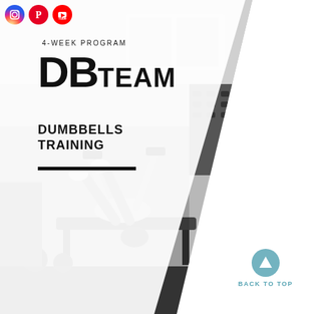[Figure (logo): Instagram, Pinterest, and YouTube social media icons in circular colored buttons]
4-WEEK PROGRAM
DB TEAM
DUMBBELLS TRAINING
[Figure (photo): Black and white photo of a woman lying on a bench press performing dumbbell chest press exercise in a home gym with dumbbell racks in the background]
BACK TO TOP